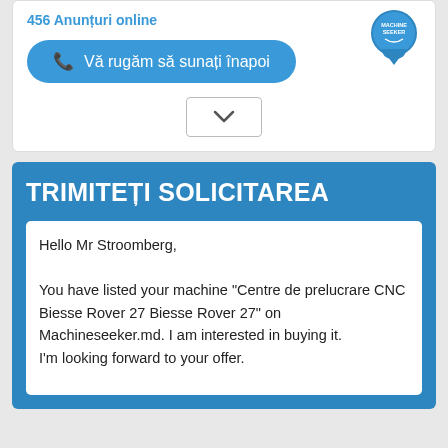456 Anunțuri online
[Figure (logo): Machineseeker badge/seal logo in teal blue]
Vă rugăm să sunați înapoi
[Figure (other): Dropdown chevron button]
TRIMITEȚI SOLICITAREA
Hello Mr Stroomberg,

You have listed your machine "Centre de prelucrare CNC Biesse Rover 27 Biesse Rover 27" on Machineseeker.md. I am interested in buying it.
I'm looking forward to your offer.